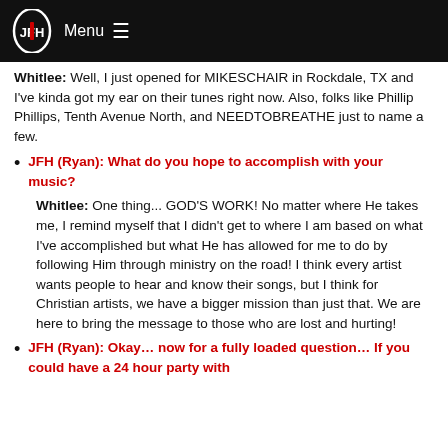JFH Menu
Whitlee: Well, I just opened for MIKESCHAIR in Rockdale, TX and I've kinda got my ear on their tunes right now. Also, folks like Phillip Phillips, Tenth Avenue North, and NEEDTOBREATHE just to name a few.
JFH (Ryan): What do you hope to accomplish with your music?
Whitlee: One thing... GOD'S WORK! No matter where He takes me, I remind myself that I didn't get to where I am based on what I've accomplished but what He has allowed for me to do by following Him through ministry on the road! I think every artist wants people to hear and know their songs, but I think for Christian artists, we have a bigger mission than just that. We are here to bring the message to those who are lost and hurting!
JFH (Ryan): Okay… now for a fully loaded question… If you could have a 24 hour party with